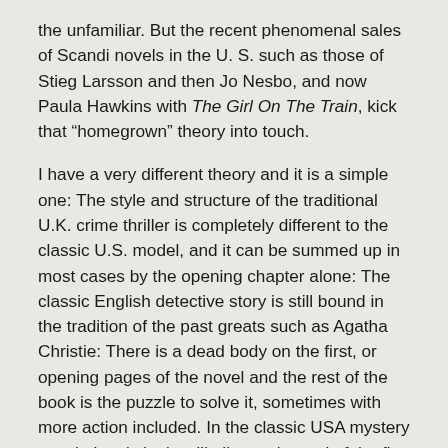the unfamiliar.  But the recent phenomenal sales of Scandi novels in the U. S. such as those of Stieg Larsson and then Jo Nesbo, and now Paula Hawkins with The Girl On The Train, kick that “homegrown” theory into touch.
I have a very different theory and it is a simple one:  The style and structure of the traditional U.K. crime thriller is completely different to the classic U.S. model, and it can be summed up in most cases by the opening chapter alone:  The classic English detective story is still bound in the tradition of the past greats such as Agatha Christie:  There is a dead body on the first, or opening pages of the novel and the rest of the book is the puzzle to solve it, sometimes with more action included.  In the classic USA mystery novel, the victim is still alive at the end of the first chapter–and in peril.